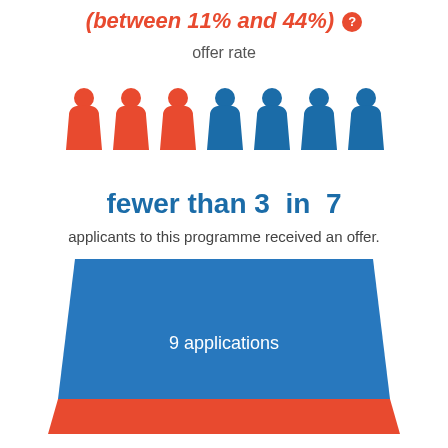(between 11% and 44%)
offer rate
[Figure (infographic): 7 person icons: 3 in orange (red), 4 in blue, illustrating fewer than 3 in 7 applicants received an offer]
fewer than 3 in 7
applicants to this programme received an offer.
[Figure (infographic): Blue funnel/trapezoid shape with orange section at bottom, labeled '9 applications']